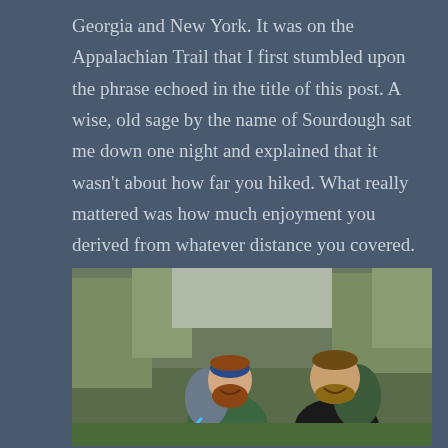Georgia and New York. It was on the Appalachian Trail that I first stumbled upon the phrase echoed in the title of this post. A wise, old sage by the name of Sourdough sat me down one night and explained that it wasn't about how far you hiked. What really mattered was how much enjoyment you derived from whatever distance you covered. It made sense to me. I still didn't run but I was beginning to see the appeal of self propelled locomotion.
[Figure (photo): Two young men with beards wearing backpacks smiling outdoors on the Appalachian Trail, surrounded by trees]